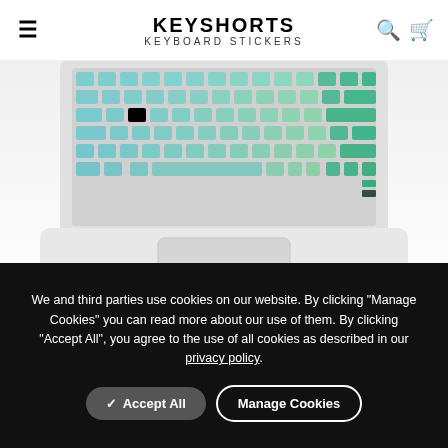KEYSHORTS KEYBOARD STICKERS
[Figure (photo): Top-down view of a MacBook laptop with blue-green ombre gradient keyboard stickers covering the keys, white laptop body visible with trackpad below the keyboard.]
Blue Green Ombre MacBook Keyboard Stickers
We and third parties use cookies on our website. By clicking "Manage Cookies" you can read more about our use of them. By clicking "Accept All", you agree to the use of all cookies as described in our privacy policy.